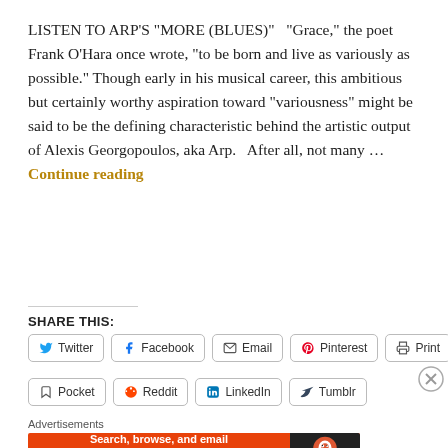LISTEN TO ARP'S "MORE (BLUES)"   "Grace," the poet Frank O'Hara once wrote, "to be born and live as variously as possible." Though early in his musical career, this ambitious but certainly worthy aspiration toward "variousness" might be said to be the defining characteristic behind the artistic output of Alexis Georgopoulos, aka Arp.   After all, not many … Continue reading
SHARE THIS:
Twitter
Facebook
Email
Pinterest
Print
Pocket
Reddit
LinkedIn
Tumblr
Advertisements
[Figure (infographic): DuckDuckGo advertisement banner: orange background with text 'Search, browse, and email with more privacy. All in One Free App' and DuckDuckGo logo on dark background]